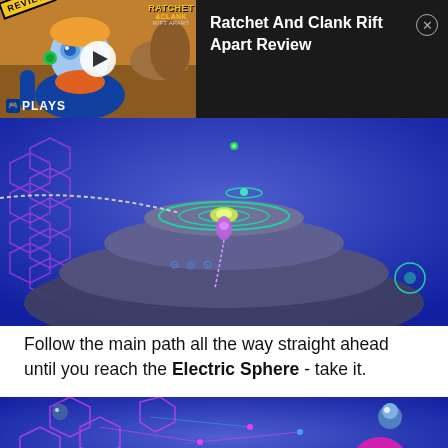[Figure (screenshot): Video banner: Ratchet and Clank Rift Apart review thumbnail with play button, REVIEW badge, PLAYS label, and video title on dark background]
[Figure (screenshot): In-game screenshot of Ratchet and Clank Rift Apart showing a sci-fi platform/disc structure with glowing purple and green lights on a blue background]
Follow the main path all the way straight ahead until you reach the Electric Sphere - take it.
[Figure (screenshot): In-game screenshot showing another area with purple glowing hex patterns and a pink/magenta sphere on a blue background]